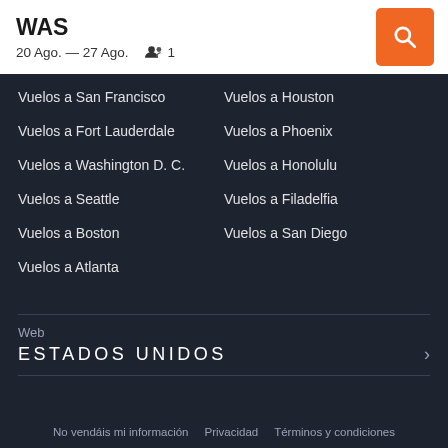WAS
20 Ago. — 27 Ago.   👥 1
Vuelos a San Francisco
Vuelos a Houston
Vuelos a Fort Lauderdale
Vuelos a Phoenix
Vuelos a Washington D. C.
Vuelos a Honolulu
Vuelos a Seattle
Vuelos a Filadelfia
Vuelos a Boston
Vuelos a San Diego
Vuelos a Atlanta
Web
ESTADOS UNIDOS
No vendáis mi información   Privacidad   Términos y condiciones